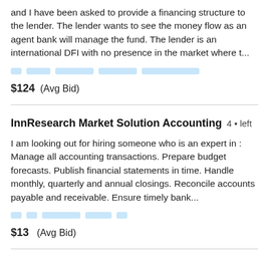and I have been asked to provide a financing structure to the lender. The lender wants to see the money flow as an agent bank will manage the fund. The lender is an international DFI with no presence in the market where t...
[tags row]
$124  (Avg Bid)
InnResearch Market Solution Accounting  4 days left
I am looking out for hiring someone who is an expert in : Manage all accounting transactions. Prepare budget forecasts. Publish financial statements in time. Handle monthly, quarterly and annual closings. Reconcile accounts payable and receivable. Ensure timely bank...
[tags row]
$13  (Avg Bid)